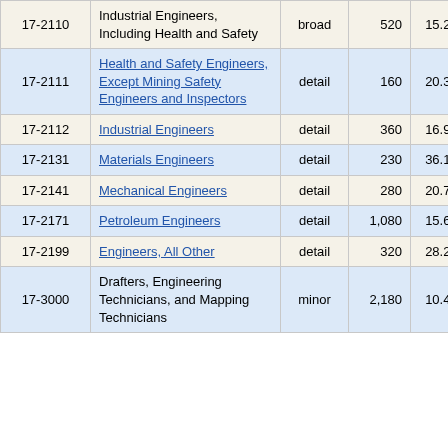| Code | Occupation | Level | Value | Percent |
| --- | --- | --- | --- | --- |
| 17-2110 | Industrial Engineers, Including Health and Safety | broad | 520 | 15.2% |
| 17-2111 | Health and Safety Engineers, Except Mining Safety Engineers and Inspectors | detail | 160 | 20.3% |
| 17-2112 | Industrial Engineers | detail | 360 | 16.9% |
| 17-2131 | Materials Engineers | detail | 230 | 36.1% |
| 17-2141 | Mechanical Engineers | detail | 280 | 20.7% |
| 17-2171 | Petroleum Engineers | detail | 1,080 | 15.6% |
| 17-2199 | Engineers, All Other | detail | 320 | 28.2% |
| 17-3000 | Drafters, Engineering Technicians, and Mapping Technicians | minor | 2,180 | 10.4% |